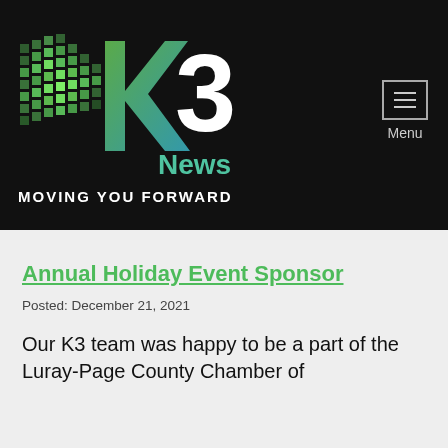[Figure (logo): K3 News logo with green and teal K3 letters, pixelated green decoration on left, 'News' in teal, 'MOVING YOU FORWARD' tagline in white below]
Annual Holiday Event Sponsor
Posted: December 21, 2021
Our K3 team was happy to be a part of the Luray-Page County Chamber of